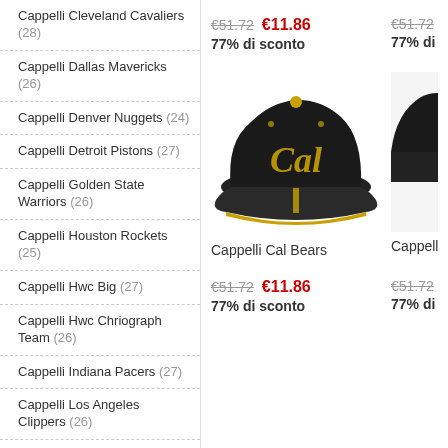Cappelli Cleveland Cavaliers (28)
Cappelli Dallas Mavericks (26)
Cappelli Denver Nuggets (24)
Cappelli Detroit Pistons (27)
Cappelli Golden State Warriors (26)
Cappelli Houston Rockets (25)
Cappelli Hwc Big (27)
Cappelli Hwc Chriograph Team (26)
Cappelli Indiana Pacers (27)
Cappelli Los Angeles Clippers (26)
Cappelli Los Angeles Lakers (27)
Cappelli Memphis Grizzlies (28)
Cappelli Miami Heat (24)
Cappelli Milwaukee Bucks (23)
Cappelli Minnesota
€51.72  €11.86
77% di sconto
€51.72
77% di
[Figure (photo): Black Cal Bears baseball cap with gold script logo and gold trim stripe on brim]
Cappelli Cal Bears
Cappelli
€51.72  €11.86
77% di sconto
€51.72
77% di